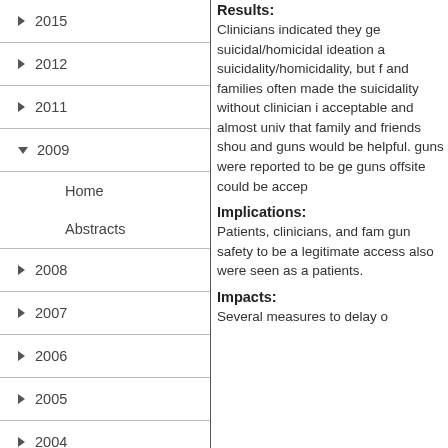▶ 2015
▶ 2012
▶ 2011
▼ 2009
Home
Abstracts
▶ 2008
▶ 2007
▶ 2006
▶ 2005
▶ 2004
2003
2002
2001
Results:
Clinicians indicated they ge suicidal/homicidal ideation a suicidality/homicidality, but f and families often made the suicidality without clinician i acceptable and almost univ that family and friends shou and guns would be helpful. guns were reported to be ge guns offsite could be accep
Implications:
Patients, clinicians, and fam gun safety to be a legitimate access also were seen as a patients.
Impacts:
Several measures to delay o